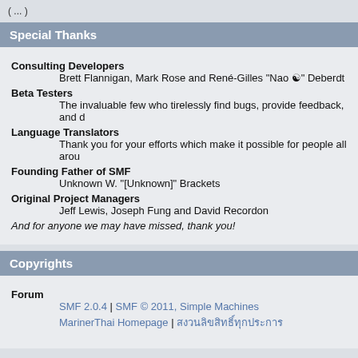( ... )
Special Thanks
Consulting Developers
    Brett Flannigan, Mark Rose and René-Gilles "Nao ☯" Deberdt
Beta Testers
    The invaluable few who tirelessly find bugs, provide feedback, and d...
Language Translators
    Thank you for your efforts which make it possible for people all arou...
Founding Father of SMF
    Unknown W. "[Unknown]" Brackets
Original Project Managers
    Jeff Lewis, Joseph Fung and David Recordon
And for anyone we may have missed, thank you!
Copyrights
Forum
    SMF 2.0.4 | SMF © 2011, Simple Machines
    MarinerThai Homepage | สงวนลิขสิทธิ์ทุกประการ